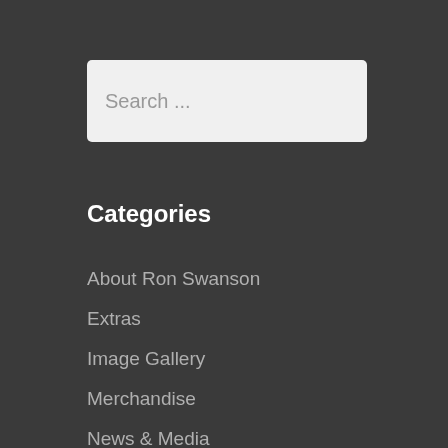Search ...
Categories
About Ron Swanson
Extras
Image Gallery
Merchandise
News & Media
Quotes by Season
Season 1
Season 2